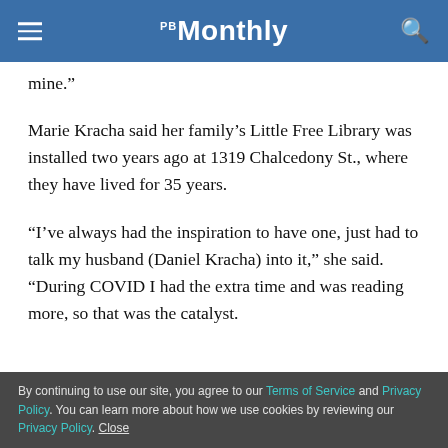PB Monthly
mine.”
Marie Kracha said her family’s Little Free Library was installed two years ago at 1319 Chalcedony St., where they have lived for 35 years.
“I’ve always had the inspiration to have one, just had to talk my husband (Daniel Kracha) into it,” she said. “During COVID I had the extra time and was reading more, so that was the catalyst.
By continuing to use our site, you agree to our Terms of Service and Privacy Policy. You can learn more about how we use cookies by reviewing our Privacy Policy. Close